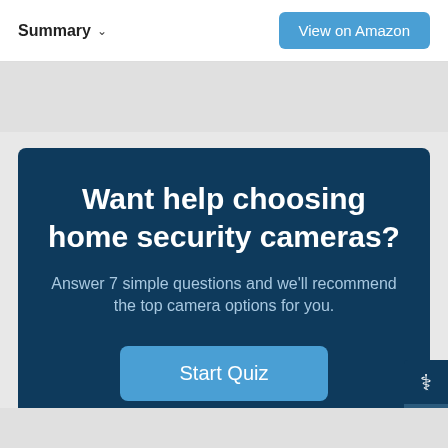Summary
View on Amazon
Want help choosing home security cameras?
Answer 7 simple questions and we'll recommend the top camera options for you.
Start Quiz